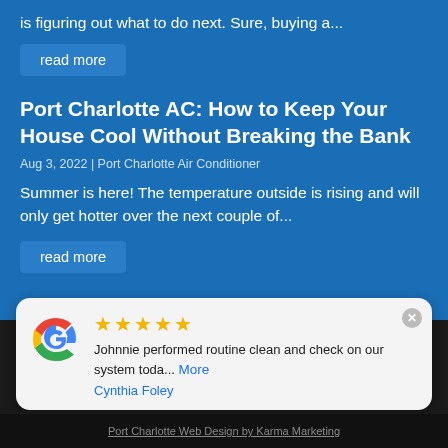is figuring out what to do next. Sure, buying a...
read more
Port Charlotte AC: How to Keep Your House Cool Without Breaking the Bank
Aug 3, 2022 | Port Charlotte Air Conditioner
Summer is here! The temperature outside is rising and will only get hotter over the next couple of...
read more
[Figure (logo): Google multicolor G logo]
Johnnie performed routine clean and check on our system toda... More
Cynthia Foley
Port Charlotte Web Design by Karma Marketing